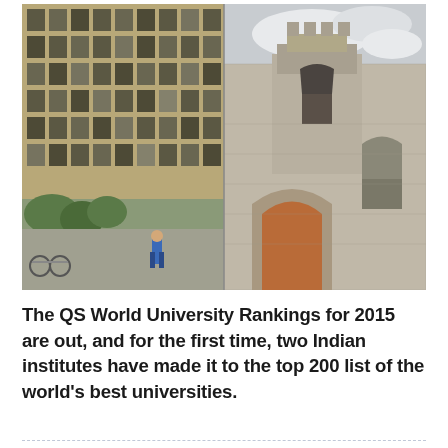[Figure (photo): Two university building photos side by side. Left: A multi-story modern academic building with many windows, a person in blue walking on campus, bicycles parked, and trees. Right: A classical stone building with a bell tower or turret architecture, arched details, and red doors.]
The QS World University Rankings for 2015 are out, and for the first time, two Indian institutes have made it to the top 200 list of the world's best universities.